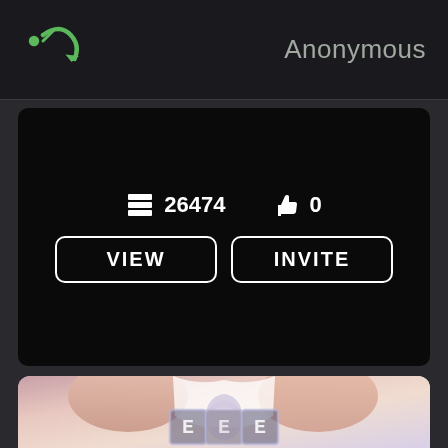Anonymous
26474
0
VIEW
INVITE
[Figure (illustration): Anime-style illustration with white-haired character and block letters, bottom portion visible]